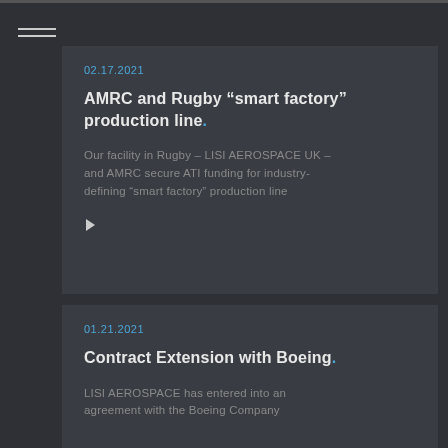02.17.2021
AMRC and Rugby “smart factory” production line.
Our facility in Rugby – LISI AEROSPACE UK – and AMRC secure ATI funding for industry-defining “smart factory” production line
01.21.2021
Contract Extension with Boeing.
LISI AEROSPACE has entered into an agreement with the Boeing Company